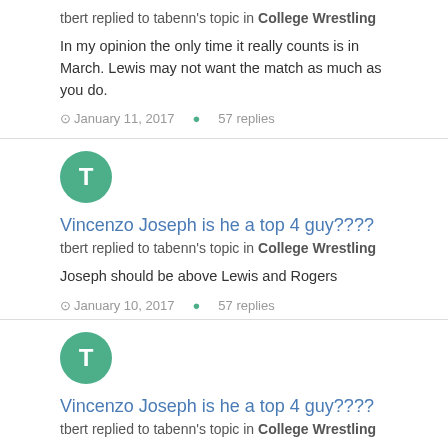tbert replied to tabenn's topic in College Wrestling
In my opinion the only time it really counts is in March. Lewis may not want the match as much as you do.
January 11, 2017   57 replies
[Figure (illustration): Green circular avatar with white letter T]
Vincenzo Joseph is he a top 4 guy????
tbert replied to tabenn's topic in College Wrestling
Joseph should be above Lewis and Rogers
January 10, 2017   57 replies
[Figure (illustration): Green circular avatar with white letter T]
Vincenzo Joseph is he a top 4 guy????
tbert replied to tabenn's topic in College Wrestling
If they beat him two times out of two times... Yes you can consider